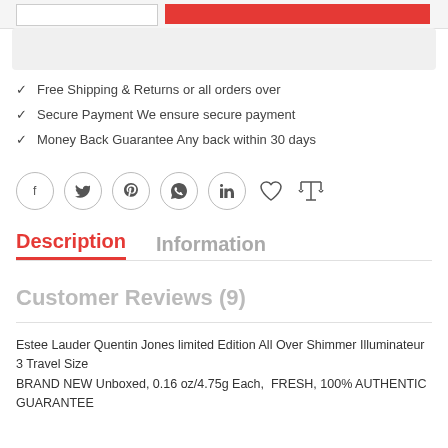✓ Free Shipping & Returns or all orders over
✓ Secure Payment We ensure secure payment
✓ Money Back Guarantee Any back within 30 days
[Figure (infographic): Social media share icons in circles (facebook, twitter, pinterest, whatsapp, linkedin) plus heart and compare icons]
Description
Information
Customer Reviews (9)
Estee Lauder Quentin Jones limited Edition All Over Shimmer Illuminateur 3 Travel Size
BRAND NEW Unboxed, 0.16 oz/4.75g Each,  FRESH, 100% AUTHENTIC GUARANTEE